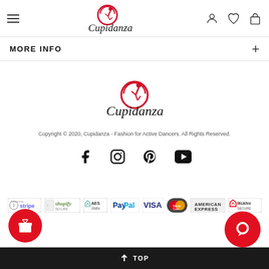[Figure (logo): Cupidanza logo in header with hamburger menu and icons]
MORE INFO
[Figure (logo): Cupidanza logo centered in footer area]
Copyright © 2020, Cupidanza - Fashion for Active Dancers. All Rights Reserved.
[Figure (infographic): Social media icons: Facebook, Instagram, Pinterest, YouTube]
[Figure (infographic): Payment badges: Stripe, Shopify, AES 256Bit, PayPal, VISA, MasterCard, American Express, McAfee Secure]
↑ TOP